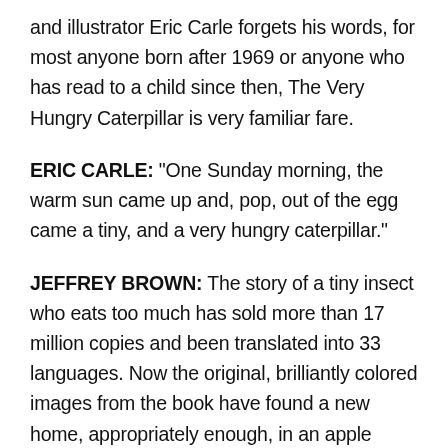and illustrator Eric Carle forgets his words, for most anyone born after 1969 or anyone who has read to a child since then, The Very Hungry Caterpillar is very familiar fare.
ERIC CARLE: "One Sunday morning, the warm sun came up and, pop, out of the egg came a tiny, and a very hungry caterpillar."
JEFFREY BROWN: The story of a tiny insect who eats too much has sold more than 17 million copies and been translated into 33 languages. Now the original, brilliantly colored images from the book have found a new home, appropriately enough, in an apple orchard in Central Massachusetts, in the brand new Eric Carle Museum of Picture Book Art, the